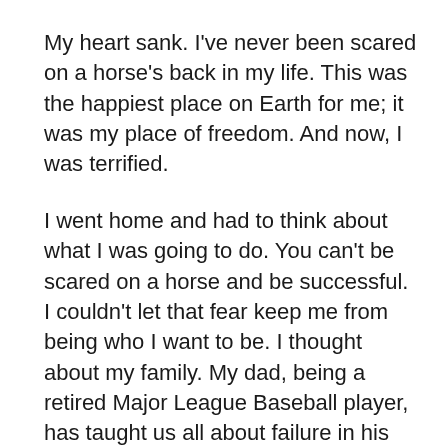My heart sank. I've never been scared on a horse's back in my life. This was the happiest place on Earth for me; it was my place of freedom. And now, I was terrified.
I went home and had to think about what I was going to do. You can't be scared on a horse and be successful. I couldn't let that fear keep me from being who I want to be. I thought about my family. My dad, being a retired Major League Baseball player, has taught us all about failure in his sport. You'll fail more often than you'll succeed and strike out more often than you'll hit a home run, he'd tell us. But knowing those odds, knowing you can strike out, can't keep you from walking up to home plate.